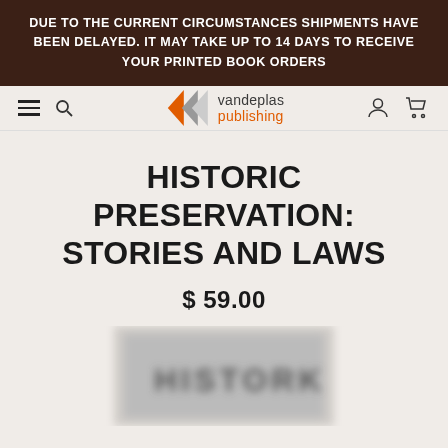DUE TO THE CURRENT CIRCUMSTANCES SHIPMENTS HAVE BEEN DELAYED. IT MAY TAKE UP TO 14 DAYS TO RECEIVE YOUR PRINTED BOOK ORDERS
[Figure (logo): Vandeplas Publishing logo with double-arrow chevron in orange and gray, with text 'vandeplas publishing' in gray and orange]
HISTORIC PRESERVATION: STORIES AND LAWS
$ 59.00
[Figure (photo): Blurred book cover image with text 'HISTORIC' partially visible]